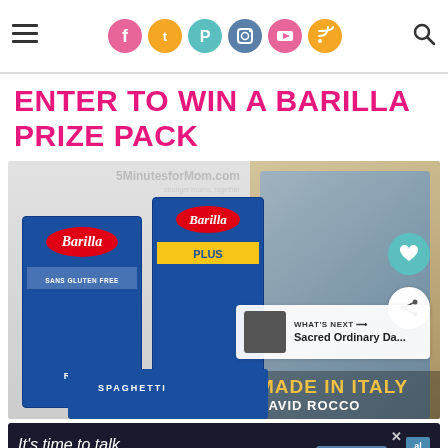Social navigation header with hamburger menu, social icons (Facebook, Twitter, Pinterest, Instagram, YouTube, RSS), and search icon
ENTER TO WIN A BARILLA PRIZE PACK
[Figure (photo): Photo of Barilla pasta boxes (Rotini sans gluten free, Plus Penne) alongside a cookbook 'Made in Italy by David Rocco', with a person eating pasta visible. Social share buttons and a 'What's Next: Sacred Ordinary Da...' panel overlay the image. Watermark reads '5MinutesforMom.com']
[Figure (other): Advertisement banner: 'It's time to talk about Alzheimer's.' with Learn More button and Alzheimer's Association logo]